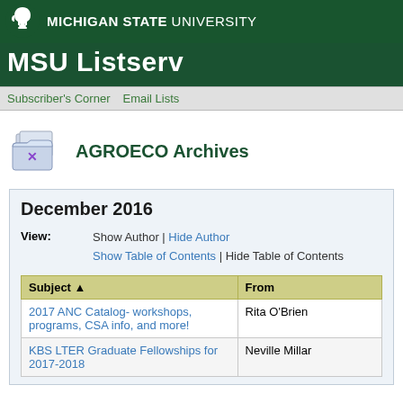MICHIGAN STATE UNIVERSITY
MSU Listserv
Subscriber's Corner   Email Lists
AGROECO Archives
December 2016
View: Show Author | Hide Author Show Table of Contents | Hide Table of Contents
| Subject ▲ | From |
| --- | --- |
| 2017 ANC Catalog- workshops, programs, CSA info, and more! | Rita O'Brien |
| KBS LTER Graduate Fellowships for 2017-2018 | Neville Millar |